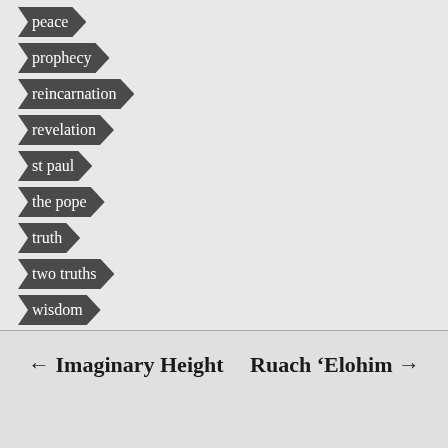peace
prophecy
reincarnation
revelation
st paul
the pope
truth
two truths
wisdom
← Imaginary Height    Ruach 'Elohim →